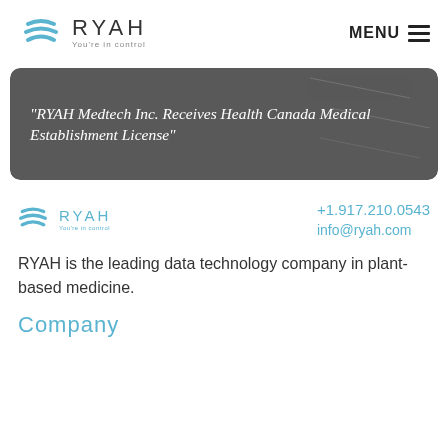[Figure (logo): RYAH logo with three horizontal blue arc lines and text 'RYAH You're in control']
MENU ☰
[Figure (photo): Banner image with dark overlay showing quote: "RYAH Medtech Inc. Receives Health Canada Medical Establishment License"]
[Figure (logo): RYAH footer logo in blue with three horizontal arc lines and text 'RYAH You're in control']
+1.917.210.0543
info@ryah.com
RYAH is the leading data technology company in plant-based medicine.
Company